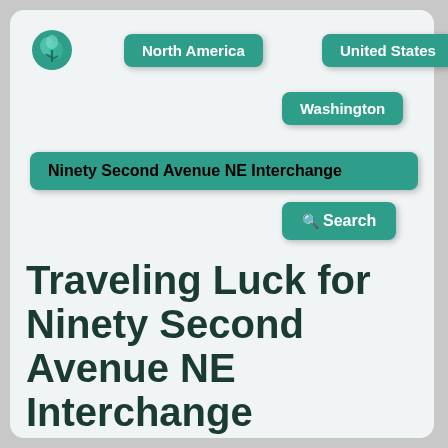[Figure (logo): Green brain/leaf logo icon]
North America
United States
Washington
Ninety Second Avenue NE Interchange
Search
Traveling Luck for Ninety Second Avenue NE Interchange